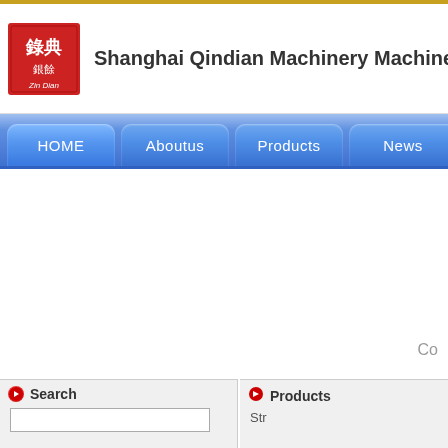[Figure (logo): Shanghai Qindian Machinery company logo — red square with Chinese characters and 'Zin Dian' text]
Shanghai Qindian Machinery Machinery Man
[Figure (screenshot): Navigation bar with blue gradient buttons: HOME, Aboutus, Products, News]
Co
Search
Products
Str